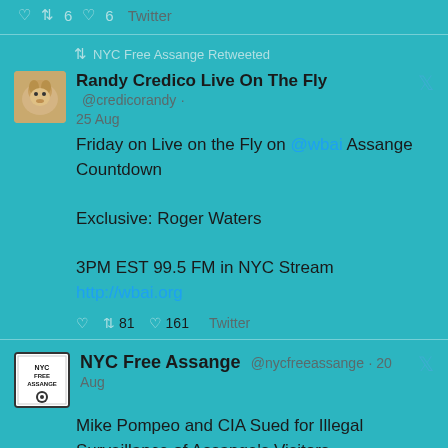6  6  Twitter
NYC Free Assange Retweeted
Randy Credico Live On The Fly @credicorandy · 25 Aug
Friday on Live on the Fly on @wbai Assange Countdown

Exclusive: Roger Waters

3PM EST 99.5 FM in NYC Stream http://wbai.org
81  161  Twitter
NYC Free Assange @nycfreeassange · 20 Aug
Mike Pompeo and CIA Sued for Illegal Surveillance of Assange's Visitors
https://truthout.org/articles/mike-pompeo-and-cia-